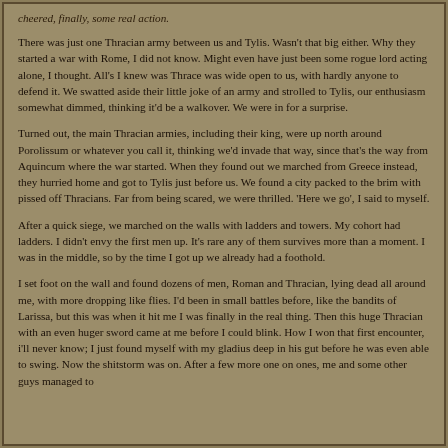cheered, finally, some real action.
There was just one Thracian army between us and Tylis. Wasn't that big either. Why they started a war with Rome, I did not know. Might even have just been some rogue lord acting alone, I thought. All's I knew was Thrace was wide open to us, with hardly anyone to defend it. We swatted aside their little joke of an army and strolled to Tylis, our enthusiasm somewhat dimmed, thinking it'd be a walkover. We were in for a surprise.
Turned out, the main Thracian armies, including their king, were up north around Porolissum or whatever you call it, thinking we'd invade that way, since that's the way from Aquincum where the war started. When they found out we marched from Greece instead, they hurried home and got to Tylis just before us. We found a city packed to the brim with pissed off Thracians. Far from being scared, we were thrilled. 'Here we go', I said to myself.
After a quick siege, we marched on the walls with ladders and towers. My cohort had ladders. I didn't envy the first men up. It's rare any of them survives more than a moment. I was in the middle, so by the time I got up we already had a foothold.
I set foot on the wall and found dozens of men, Roman and Thracian, lying dead all around me, with more dropping like flies. I'd been in small battles before, like the bandits of Larissa, but this was when it hit me I was finally in the real thing. Then this huge Thracian with an even huger sword came at me before I could blink. How I won that first encounter, i'll never know; I just found myself with my gladius deep in his gut before he was even able to swing. Now the shitstorm was on. After a few more one on ones, me and some other guys managed to